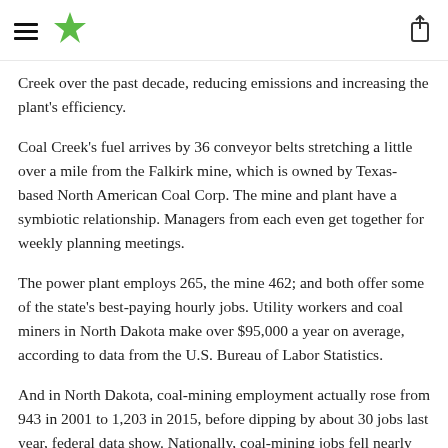Navigation header with hamburger menu, star logo, and share icon
Creek over the past decade, reducing emissions and increasing the plant's efficiency.
Coal Creek's fuel arrives by 36 conveyor belts stretching a little over a mile from the Falkirk mine, which is owned by Texas-based North American Coal Corp. The mine and plant have a symbiotic relationship. Managers from each even get together for weekly planning meetings.
The power plant employs 265, the mine 462; and both offer some of the state's best-paying hourly jobs. Utility workers and coal miners in North Dakota make over $95,000 a year on average, according to data from the U.S. Bureau of Labor Statistics.
And in North Dakota, coal-mining employment actually rose from 943 in 2001 to 1,203 in 2015, before dipping by about 30 jobs last year, federal data show. Nationally, coal-mining jobs fell nearly 15 percent from 2001 through 2015, and they nose-dived further in 2016.